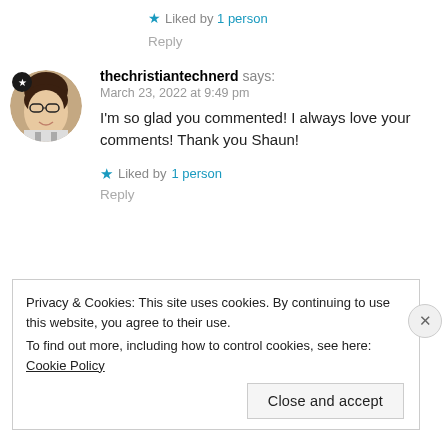★ Liked by 1 person
Reply
[Figure (photo): Circular avatar photo of a woman with glasses and dark hair, with a black star badge in the top-left]
thechristiantechnerd says:
March 23, 2022 at 9:49 pm
I'm so glad you commented! I always love your comments! Thank you Shaun!
★ Liked by 1 person
Reply
Privacy & Cookies: This site uses cookies. By continuing to use this website, you agree to their use.
To find out more, including how to control cookies, see here: Cookie Policy
Close and accept